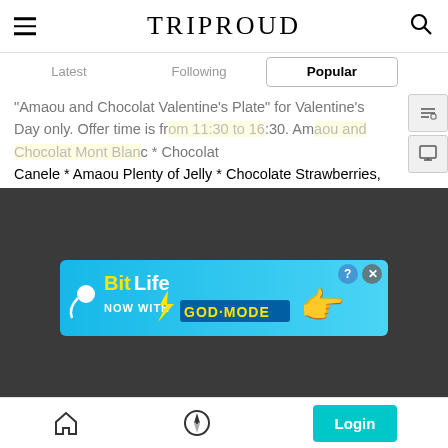TRIPROUD
Latest | Following | Popular
Amaou and Chocolat Valentine's Plate" for Valentine's Day only. Offer time is from 11:30 to 16:30. Amaou and Chocolat Mont Blanc * Chocolat Canele * Amaou Plenty of Jelly * Chocolate Strawberries, etc. The top of the plate is full of cute things. It's a popular shop, so reservations are better.
[Figure (screenshot): BitLife advertisement banner: 'NOW WITH GOD MODE' on a blue background with cartoon hand pointing]
Home | Compass/Explore | Login